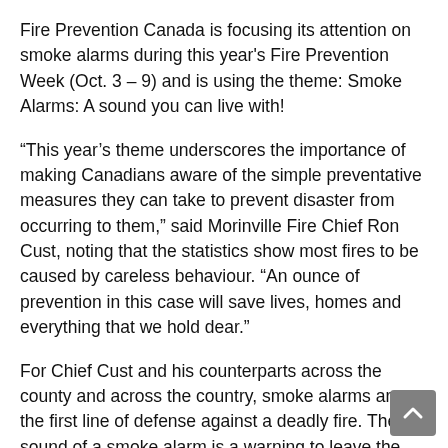Fire Prevention Canada is focusing its attention on smoke alarms during this year's Fire Prevention Week (Oct. 3 – 9) and is using the theme: Smoke Alarms: A sound you can live with!
“This year’s theme underscores the importance of making Canadians aware of the simple preventative measures they can take to prevent disaster from occurring to them,” said Morinville Fire Chief Ron Cust, noting that the statistics show most fires to be caused by careless behaviour. “An ounce of prevention in this case will save lives, homes and everything that we hold dear.”
For Chief Cust and his counterparts across the county and across the country, smoke alarms are the first line of defense against a deadly fire. The sound of a smoke alarm is a warning to leave the building.